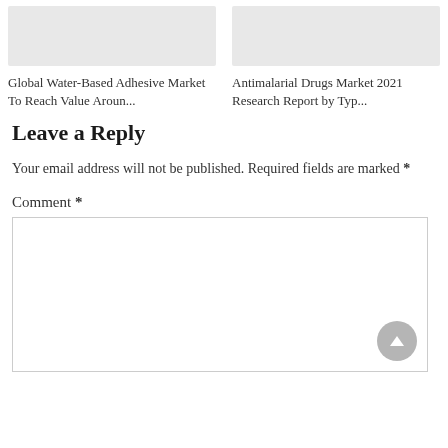[Figure (screenshot): Gray placeholder image for article card: Global Water-Based Adhesive Market]
Global Water-Based Adhesive Market To Reach Value Aroun...
[Figure (screenshot): Gray placeholder image for article card: Antimalarial Drugs Market 2021 Research Report]
Antimalarial Drugs Market 2021 Research Report by Typ...
Leave a Reply
Your email address will not be published. Required fields are marked *
Comment *
[Figure (other): Comment text area input box with scroll-to-top button]